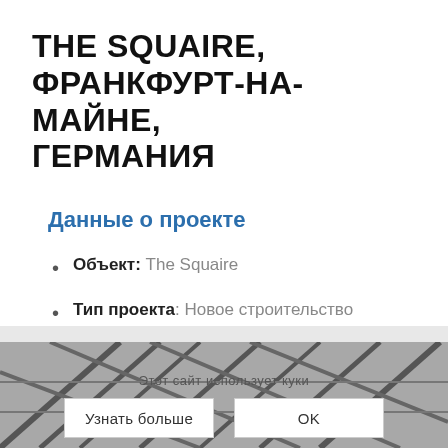THE SQUAIRE, ФРАНКФУРТ-НА-МАЙНЕ, ГЕРМАНИЯ
Данные о проекте
Объект: The Squaire
Тип проекта: Новое строительство
Площадь кровли: 3 500 кв. м
Система: Rhepanol hg
[Figure (photo): Architectural photo of The Squaire structure showing metal/glass lattice roof structure, partially obscured by cookie consent banner overlay with text 'Этот сайт использует куки' and buttons 'Узнать больше' and 'OK']